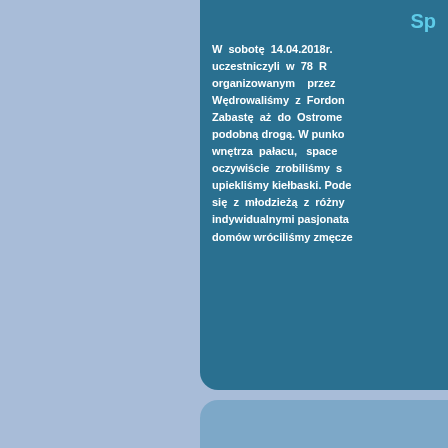Sp
W sobotę 14.04.2018r. uczestniczyli w 78 R organizowanym przez Wędrowaliśmy z Fordon Zabastę aż do Ostrome podobną drogą. W punko wnętrza pałacu, space oczywiście zrobiliśmy s upiekliśmy kiełbaski. Pod się z młodzieżą z różny indywidualnymi pasjonata domów wróciliśmy zmęcze
W środę 28.03.2018r. zorganizowany z okazj Wielkiej Nocy. Szkolni a